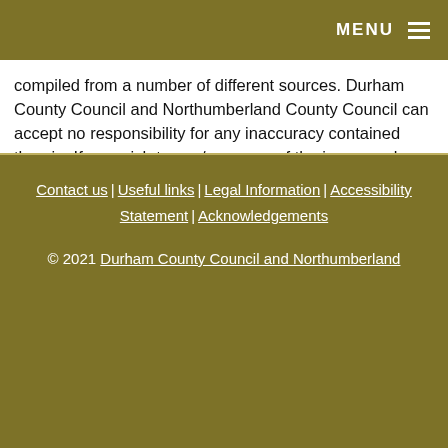MENU
compiled from a number of different sources. Durham County Council and Northumberland County Council can accept no responsibility for any inaccuracy contained therein. If you wish to use/copy any of the images, please ensure that you read the Copyright information provided.
Top of Page
Contact us | Useful links | Legal Information | Accessibility Statement | Acknowledgements © 2021 Durham County Council and Northumberland